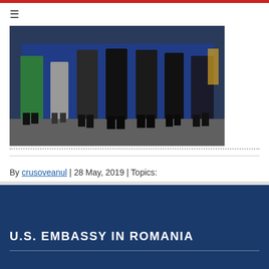[Figure (photo): Group photo showing lower bodies/legs of several people standing in front of a blue background panel. People are wearing formal attire including a green dress on the far left, gray skirt, black suits and pants.]
By crusoveanul | 28 May, 2019 | Topics:
U.S. EMBASSY IN ROMANIA